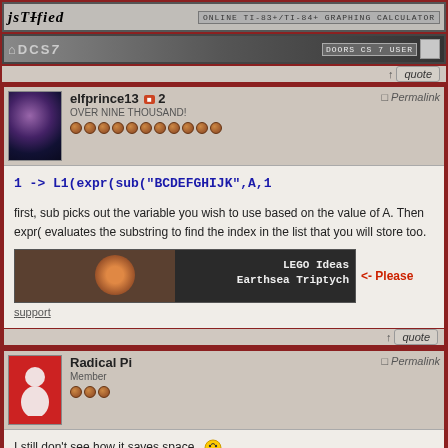[Figure (screenshot): jsTIfied banner - online TI-83+/TI-84+ graphing calculator]
[Figure (screenshot): DCS7 Doors CS 7 user banner with icon]
↑ quote
elfprince13 ■ 2 OVER NINE THOUSAND!
Permalink
first, sub picks out the variable you wish to use based on the value of A. Then expr( evaluates the substring to find the index in the list that you will store too.
[Figure (photo): LEGO Ideas Earthsea Triptych banner advertisement]
<- Please support
↑ quote
Radical Pi Member
Permalink
I still don't see how it saves space.
I need to learn Greek...
↑ quote